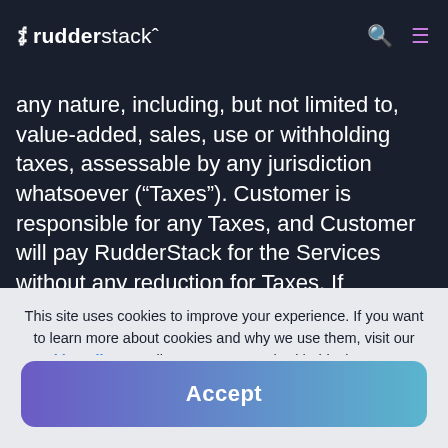rudderstack
any nature, including, but not limited to, value-added, sales, use or withholding taxes, assessable by any jurisdiction whatsoever (“Taxes”). Customer is responsible for any Taxes, and Customer will pay RudderStack for the Services without any reduction for Taxes. If RudderStack is obligated to collect or pay Taxes, the Taxes will
This site uses cookies to improve your experience. If you want to learn more about cookies and why we use them, visit our cookie policy.  We’ll assume you’re ok with this, but you can opt-out if you wish  Cookie Settings.
Accept